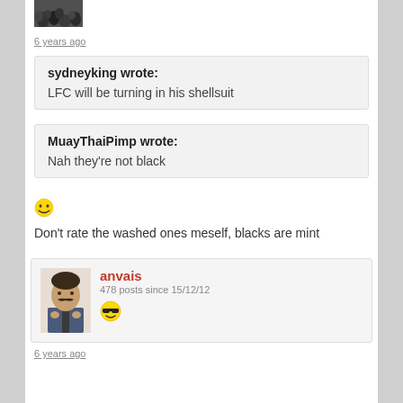[Figure (photo): Crowd photo avatar at top, partially visible]
6 years ago
sydneyking wrote:
LFC will be turning in his shellsuit
MuayThaiPimp wrote:
Nah they're not black
[Figure (photo): Grinning face emoji]
Don't rate the washed ones meself, blacks are mint
anvais
478 posts since 15/12/12
[Figure (photo): Cool emoji with sunglasses]
6 years ago
[Figure (photo): Avatar of man with mustache]